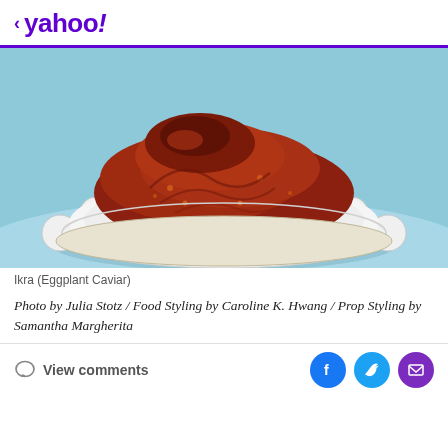< yahoo!
[Figure (photo): A white scalloped ceramic dish filled with a dark red-brown chunky spread (Ikra / Eggplant Caviar) on a light blue background.]
Ikra (Eggplant Caviar)
Photo by Julia Stotz / Food Styling by Caroline K. Hwang / Prop Styling by Samantha Margherita
View comments